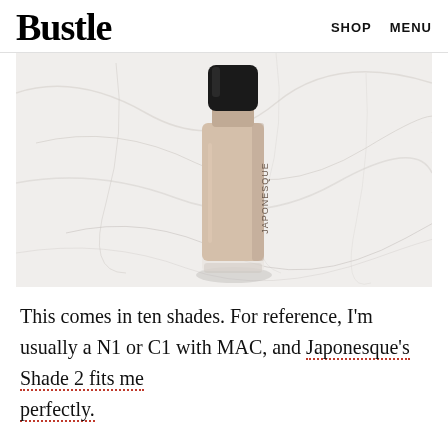Bustle   SHOP   MENU
[Figure (photo): A Japonesque foundation bottle with a black cap sitting on a white marble surface. The cylindrical bottle is beige/nude colored with 'JAPONESQUE' printed vertically on it.]
This comes in ten shades. For reference, I'm usually a N1 or C1 with MAC, and Japonesque's Shade 2 fits me perfectly.